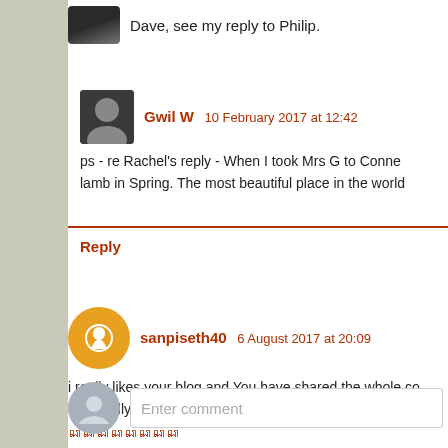Dave, see my reply to Philip.
Gwil W  10 February 2017 at 12:42
ps - re Rachel's reply - When I took Mrs G to Conne... lamb in Spring. The most beautiful place in the world...
Reply
sanpiseth40  6 August 2017 at 20:09
i really likes your blog and You have shared the whole co... beautifully soulful read! thanks for sharing.
ណណណណណណណណ
Reply
Enter comment